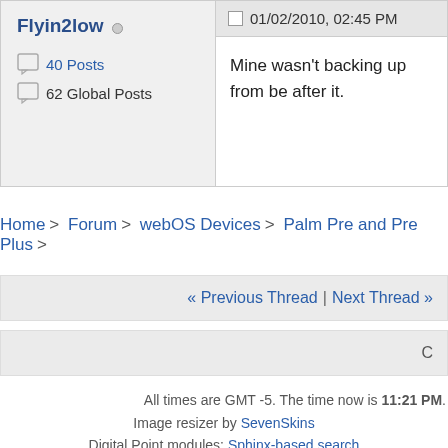Flyin2low
40 Posts
62 Global Posts
01/02/2010, 02:45 PM
Mine wasn't backing up from be after it.
Home > Forum > webOS Devices > Palm Pre and Pre Plus >
« Previous Thread | Next Thread »
C
All times are GMT -5. The time now is 11:21 PM.
Image resizer by SevenSkins
Digital Point modules: Sphinx-based search